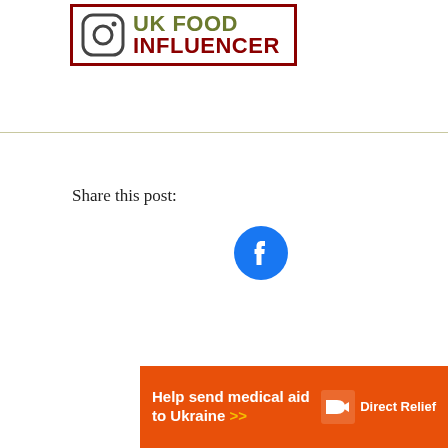[Figure (logo): UK Food Influencer logo with Instagram icon, text 'UK FOOD' in olive green and 'INFLUENCER' in dark red, bordered box]
Share this post:
[Figure (illustration): Blue circle with white Facebook 'f' icon]
[Figure (infographic): Orange advertisement banner: 'Help send medical aid to Ukraine >>' with Direct Relief logo on the right]